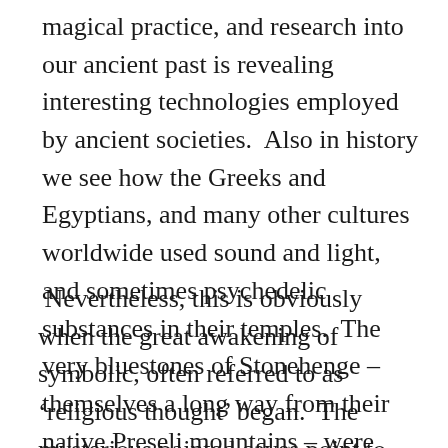magical practice, and research into our ancient past is revealing interesting technologies employed by ancient societies.  Also in history we see how the Greeks and Egyptians, and many other cultures worldwide used sound and light, and sometimes psychedelic substances in their temples.  The very bluestones of Stonehenge – themselves a long way from their native Preseli mountains – were hewn from rocks that 'sing'.
Nevertheless, this is obviously when the great awakening of symbolic, often referred to as 'religious thought' began.  The mysterious painted caves point to the time when mankind began to probe the boundaries of spirituality